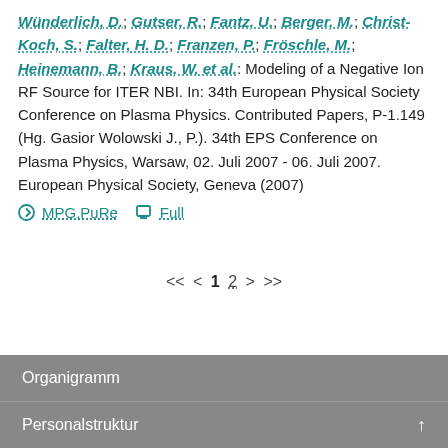Wünderlich, D.; Gutser, R.; Fantz, U.; Berger, M.; Christ-Koch, S.; Falter, H. D.; Franzen, P.; Fröschle, M.; Heinemann, B.; Kraus, W. et al.: Modeling of a Negative Ion RF Source for ITER NBI. In: 34th European Physical Society Conference on Plasma Physics. Contributed Papers, P-1.149 (Hg. Gasior Wolowski J., P.). 34th EPS Conference on Plasma Physics, Warsaw, 02. Juli 2007 - 06. Juli 2007. European Physical Society, Geneva (2007)
MPG.PuRe   Full
<< < 1 2 > >>
Organigramm
Personalstruktur